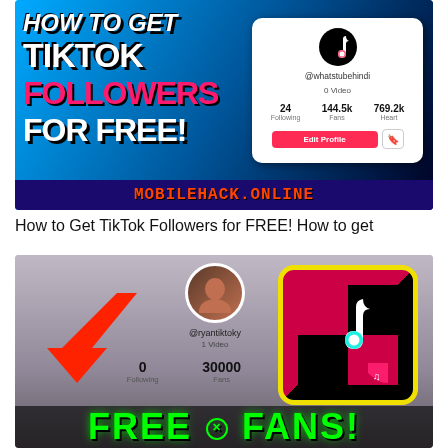[Figure (screenshot): Promotional thumbnail showing TikTok followers growth hack. Left side has bold text: 'HOW TO GET TikTok FOLLOWERS FOR FREE!' on colorful background. Right side shows a TikTok profile with username @whatstubehindi, 0 Video, 24 Following, 144.5k Fans, 769.2k Heart, with red arrow pointing at follower count. Bottom bar reads 'MOBILEHACK.ONLINE' in orange on dark blue background.]
How to Get TikTok Followers for FREE! How to get
[Figure (screenshot): Second promotional image showing TikTok profile @ryantiktoky with 1 Video, 0 Following, 30000 Fans, 0 Heart. Large red arrow pointing at the profile. Right side shows TikTok logo with yellow border. Bottom text reads 'FREE FANS!' in large green letters.]